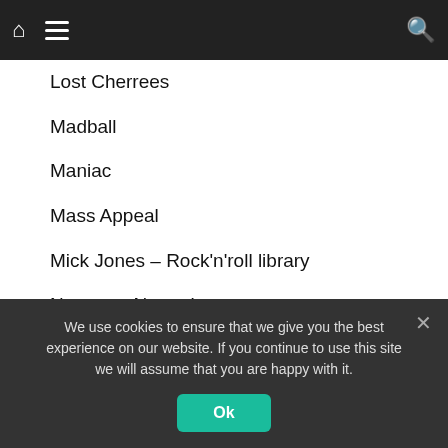Navigation bar with home, menu, and search icons
Lost Cherrees
Madball
Maniac
Mass Appeal
Mick Jones – Rock'n'roll library
Newtown Neurotics
No More Bloody Destruction
Partisans
Peter and The Test Tube Babies
We use cookies to ensure that we give you the best experience on our website. If you continue to use this site we will assume that you are happy with it.
Ok